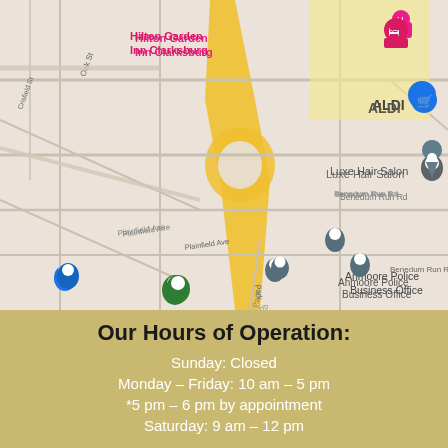[Figure (map): Google Maps screenshot showing the area around Anmoore, WV near I-79. Landmarks include Hilton Garden Inn Clarksburg, ALDI, Luxe Hair Salon, Anmoore Police Business Office, Casey's, Sam's Shears Hair House, Fresenius Kidney Care Clarksburg, and other local businesses. Roads visible include Benedum Run Rd, Crystal Ln, Plainfield Ave, Oak St, Crisfield St, and Parkway.]
Our Hours of Operation:
Sunday: Closed
Monday – Friday: 10 am – 5 pm
*5 pm – 6 pm by appointment
Saturday: 9 am – 12 pm